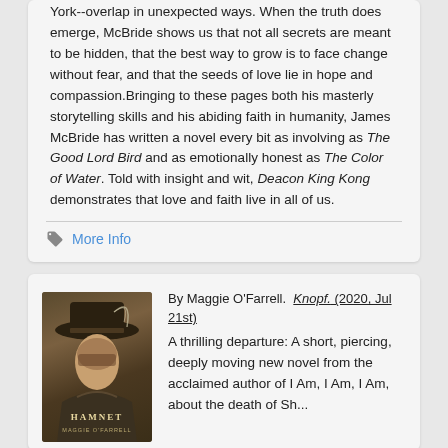York--overlap in unexpected ways. When the truth does emerge, McBride shows us that not all secrets are meant to be hidden, that the best way to grow is to face change without fear, and that the seeds of love lie in hope and compassion.Bringing to these pages both his masterly storytelling skills and his abiding faith in humanity, James McBride has written a novel every bit as involving as The Good Lord Bird and as emotionally honest as The Color of Water. Told with insight and wit, Deacon King Kong demonstrates that love and faith live in all of us.
More Info
[Figure (photo): Book cover of Hamnet by Maggie O'Farrell showing a figure in period clothing with a hat]
By Maggie O'Farrell.  Knopf. (2020, Jul 21st) A thrilling departure: A short, piercing, deeply moving new novel from the acclaimed author of I Am, I Am, I Am, about the death of Sh...